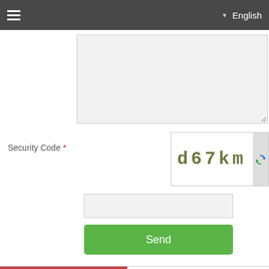≡  English
[Figure (screenshot): Textarea input field (grey, partially visible at top)]
Security Code *
[Figure (screenshot): CAPTCHA image showing text 'd67km' with refresh button]
[Figure (screenshot): Text input field for security code entry]
Send
List
Home page
About Professor
About darol-erfan